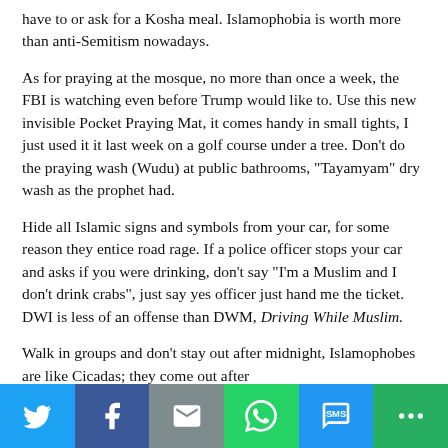have to or ask for a Kosha meal. Islamophobia is worth more than anti-Semitism nowadays.
As for praying at the mosque, no more than once a week, the FBI is watching even before Trump would like to. Use this new invisible Pocket Praying Mat, it comes handy in small tights, I just used it it last week on a golf course under a tree. Don’t do the praying wash (Wudu) at public bathrooms, “Tayamyam” dry wash as the prophet had.
Hide all Islamic signs and symbols from your car, for some reason they entice road rage. If a police officer stops your car and asks if you were drinking, don’t say “I’m a Muslim and I don’t drink crabs”, just say yes officer just hand me the ticket. DWI is less of an offense than DWM, Driving While Muslim.
Walk in groups and don’t stay out after midnight, Islamophobes are like Cicadas; they come out after
[Figure (infographic): Social media share bar with icons for Twitter, Facebook, Email, WhatsApp, SMS, and More]